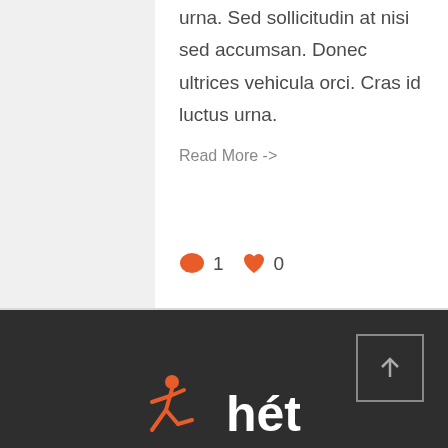urna. Sed sollicitudin at nisi sed accumsan. Donec ultrices vehicula orci. Cras id luctus urna.
Read More ->
1  0
[Figure (infographic): Dark footer area with scroll-to-top button (arrow pointing up inside a square border) and logo area below]
[Figure (logo): Running person figure icon in orange and 'hét' text logo in white on dark background]